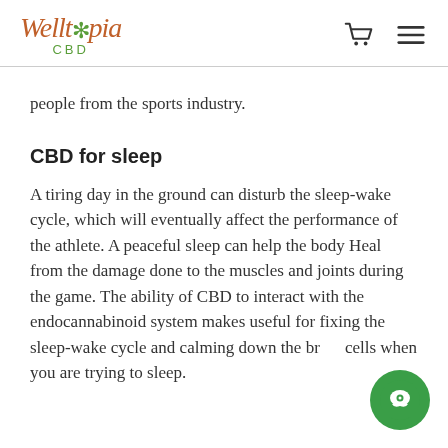Welltopia CBD
people from the sports industry.
CBD for sleep
A tiring day in the ground can disturb the sleep-wake cycle, which will eventually affect the performance of the athlete. A peaceful sleep can help the body Heal from the damage done to the muscles and joints during the game. The ability of CBD to interact with the endocannabinoid system makes useful for fixing the sleep-wake cycle and calming down the brain cells when you are trying to sleep.